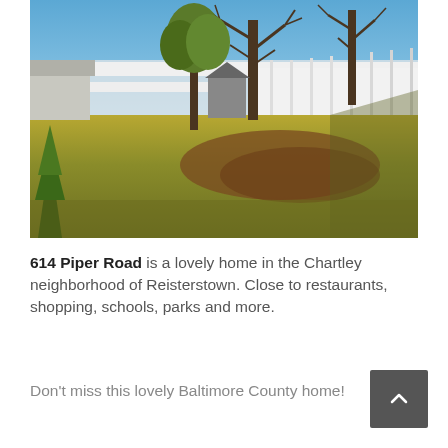[Figure (photo): Outdoor photo of a backyard with a large lawn, white fence along the perimeter, bare deciduous trees and an evergreen shrub in the foreground, a small shed, and a clear blue sky. Autumn/winter scene.]
614 Piper Road is a lovely home in the Chartley neighborhood of Reisterstown. Close to restaurants, shopping, schools, parks and more.
Don't miss this lovely Baltimore County home!